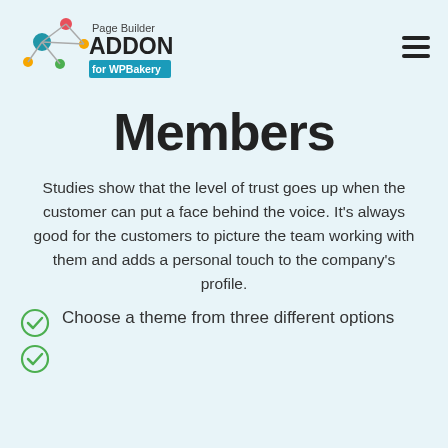[Figure (logo): Page Builder ADDONs for WPBakery logo with colorful network nodes graphic]
Members
Studies show that the level of trust goes up when the customer can put a face behind the voice. It's always good for the customers to picture the team working with them and adds a personal touch to the company's profile.
Choose a theme from three different options
(partial — cut off at bottom)